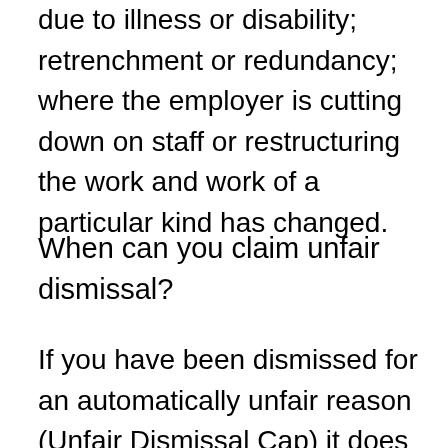due to illness or disability; retrenchment or redundancy; where the employer is cutting down on staff or restructuring the work and work of a particular kind has changed.
When can you claim unfair dismissal?
If you have been dismissed for an automatically unfair reason (Unfair Dismissal Cap) it does